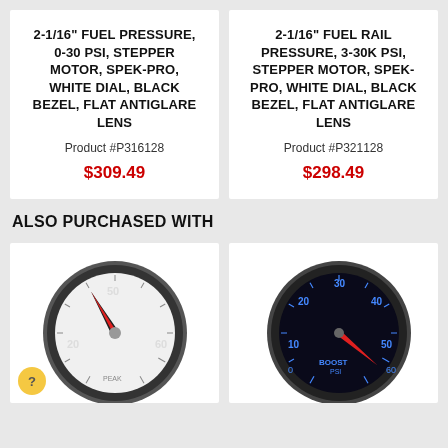2-1/16" FUEL PRESSURE, 0-30 PSI, STEPPER MOTOR, SPEK-PRO, WHITE DIAL, BLACK BEZEL, FLAT ANTIGLARE LENS
Product #P316128
$309.49
2-1/16" FUEL RAIL PRESSURE, 3-30K PSI, STEPPER MOTOR, SPEK-PRO, WHITE DIAL, BLACK BEZEL, FLAT ANTIGLARE LENS
Product #P321128
$298.49
ALSO PURCHASED WITH
[Figure (photo): White-dial fuel pressure gauge showing needle pointing to approximately 0, with markings at 20, 50, 60 PSI, PEAK label visible at bottom]
[Figure (photo): Black-dial boost gauge with blue illuminated markings at 10, 20, 30, 40, 50, 60 PSI, red needle, BOOST label at bottom center]